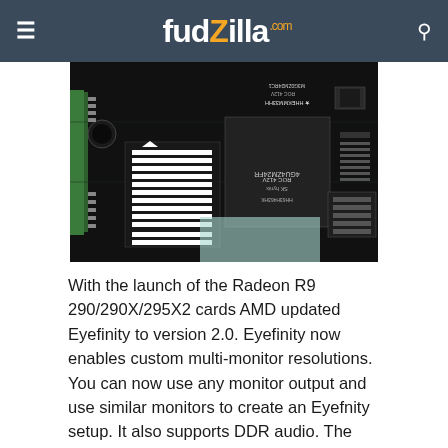fudzilla.com
[Figure (photo): Close-up photograph of a PCB (printed circuit board) showing memory chips and electronic components, likely from an AMD Radeon R9 290 series graphics card. Visible are chip labels including '4GU4ZM24FR' and 'HH63H463HK' markings in white text on black chips.]
With the launch of the Radeon R9 290/290X/295X2 cards AMD updated Eyefinity to version 2.0. Eyefinity now enables custom multi-monitor resolutions. You can now use any monitor output and use similar monitors to create an Eyefnity setup. It also supports DDR audio. The rest of the R9 290 series cards have similar connector layout, i.e. two DVIs, one standard